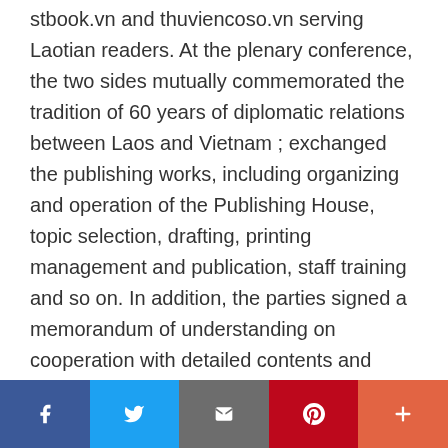...books have been translated and published on stbook.vn and thuviencoso.vn serving Laotian readers. At the plenary conference, the two sides mutually commemorated the tradition of 60 years of diplomatic relations between Laos and Vietnam ; exchanged the publishing works, including organizing and operation of the Publishing House, topic selection, drafting, printing management and publication, staff training and so on. In addition, the parties signed a memorandum of understanding on cooperation with detailed contents and programs to well implement the political tasks and push up the production and business development, introduce to readers the two countries, the fruitful friendship...
Social share bar: Facebook, Twitter, Email, Pinterest, More